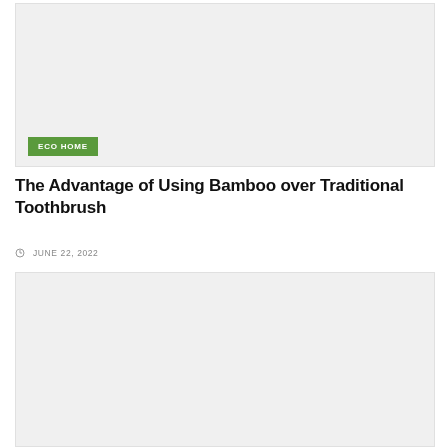[Figure (photo): Top image placeholder - light gray background box with ECO HOME green badge label at lower left]
The Advantage of Using Bamboo over Traditional Toothbrush
JUNE 22, 2022
[Figure (photo): Bottom image placeholder - light gray background box]